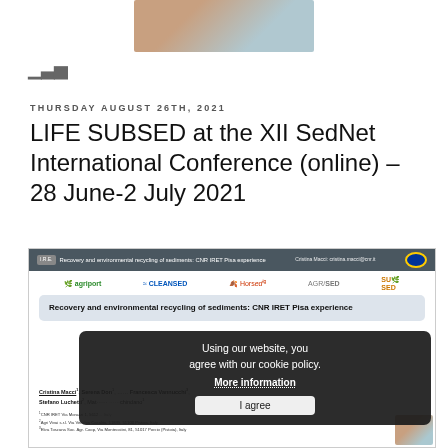[Figure (photo): Partial photo at top of page, cropped]
[Figure (illustration): Bar chart icon (signal bars)]
THURSDAY AUGUST 26TH, 2021
LIFE SUBSED at the XII SedNet International Conference (online) – 28 June-2 July 2021
[Figure (screenshot): Screenshot of a conference presentation slide showing 'Recovery and environmental recycling of sediments: CNR IRET Pisa experience' with logos (agriport, CLEANSED, Horsed, AGRSED, SUBSED) and a cookie consent overlay reading 'Using our website, you agree with our cookie policy. More information. I agree']